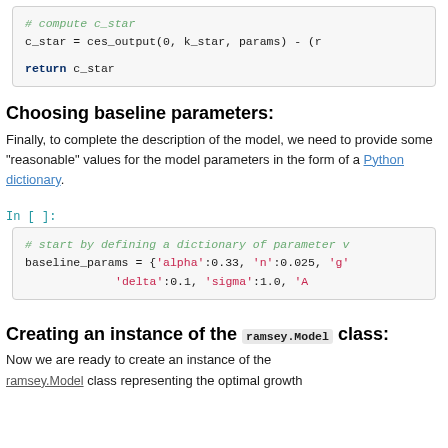[Figure (screenshot): Code block showing Python code: # compute c_star, c_star = ces_output(0, k_star, params) - (r... , return c_star]
Choosing baseline parameters:
Finally, to complete the description of the model, we need to provide some "reasonable" values for the model parameters in the form of a Python dictionary.
In [ ]:
[Figure (screenshot): Code block showing Python code: # start by defining a dictionary of parameter v..., baseline_params = {'alpha':0.33, 'n':0.025, 'g'..., 'delta':0.1, 'sigma':1.0, 'A...]
Creating an instance of the ramsey.Model class:
Now we are ready to create an instance of the ramsey.Model class representing the optimal growth